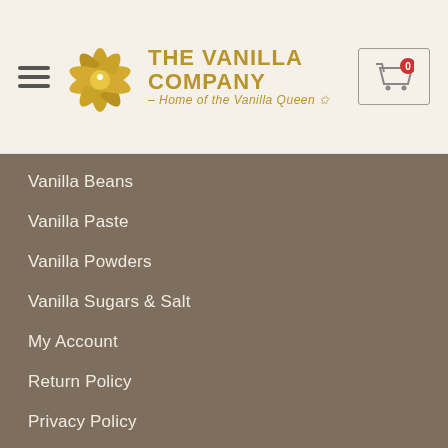[Figure (logo): The Vanilla Company logo with golden starfish flower and text 'THE VANILLA COMPANY - Home of the Vanilla Queen']
Vanilla Beans
Vanilla Paste
Vanilla Powders
Vanilla Sugars & Salt
My Account
Return Policy
Privacy Policy
Cart
Checkout